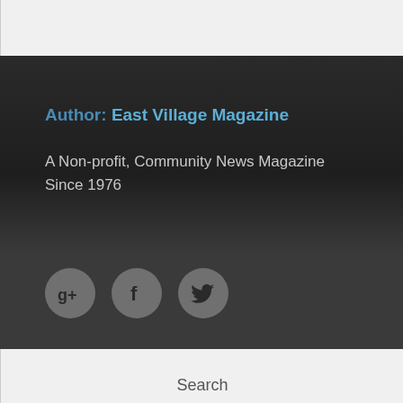Author: East Village Magazine
A Non-profit, Community News Magazine Since 1976
[Figure (infographic): Three circular social media icons: Google+, Facebook, Twitter]
Search